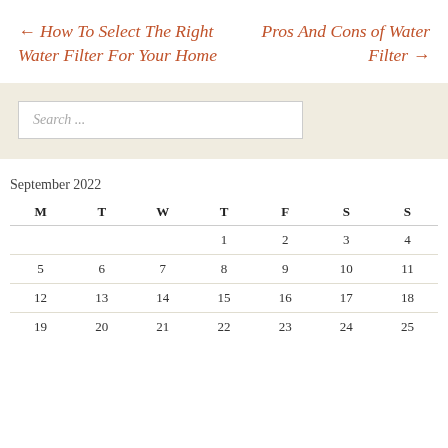← How To Select The Right Water Filter For Your Home
Pros And Cons of Water Filter →
Search ...
| M | T | W | T | F | S | S |
| --- | --- | --- | --- | --- | --- | --- |
|  |  |  | 1 | 2 | 3 | 4 |
| 5 | 6 | 7 | 8 | 9 | 10 | 11 |
| 12 | 13 | 14 | 15 | 16 | 17 | 18 |
| 19 | 20 | 21 | 22 | 23 | 24 | 25 |